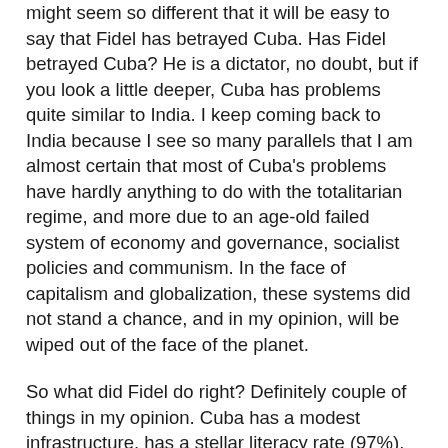might seem so different that it will be easy to say that Fidel has betrayed Cuba. Has Fidel betrayed Cuba? He is a dictator, no doubt, but if you look a little deeper, Cuba has problems quite similar to India. I keep coming back to India because I see so many parallels that I am almost certain that most of Cuba's problems have hardly anything to do with the totalitarian regime, and more due to an age-old failed system of economy and governance, socialist policies and communism. In the face of capitalism and globalization, these systems did not stand a chance, and in my opinion, will be wiped out of the face of the planet.
So what did Fidel do right? Definitely couple of things in my opinion. Cuba has a modest infrastructure, has a stellar literacy rate (97%), which beats even the US and is supposed to have great healthcare. These are not mean achievements considering a strong embargo and antagonism from the neighboring US. We visited a biotechnology research center in Havana and the gentleman we met there was one of the most bright and humorous person I have come across. He introduced us to the various researches being done in a string of facilities across the